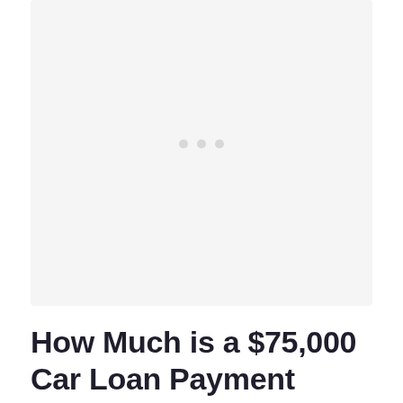[Figure (photo): Image placeholder area with three light gray dots indicating a loading or carousel image area]
How Much is a $75,000 Car Loan Payment Over 24